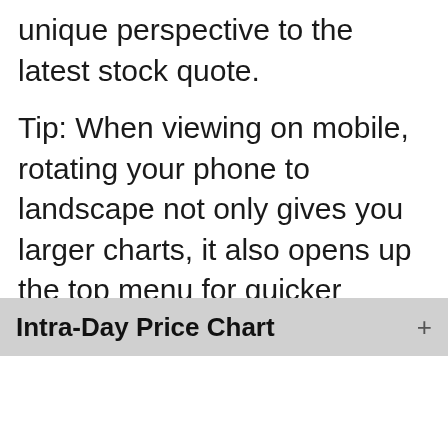unique perspective to the latest stock quote.
Tip: When viewing on mobile, rotating your phone to landscape not only gives you larger charts, it also opens up the top menu for quicker navigation.
Intra-Day Price Chart